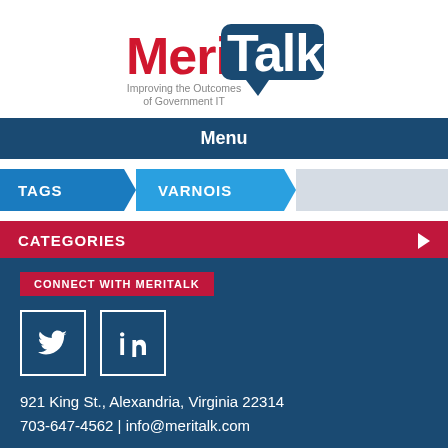[Figure (logo): MeriTalk logo with tagline 'Improving the Outcomes of Government IT']
Menu
TAGS   VARNOIS
CATEGORIES
CONNECT WITH MERITALK
[Figure (illustration): Twitter and LinkedIn social media icons in white bordered boxes on dark blue background]
921 King St., Alexandria, Virginia 22314
703-647-4562 | info@meritalk.com